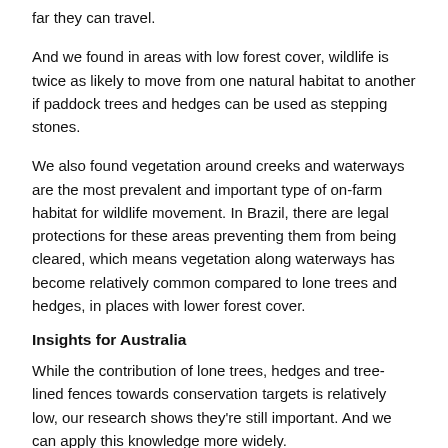far they can travel.
And we found in areas with low forest cover, wildlife is twice as likely to move from one natural habitat to another if paddock trees and hedges can be used as stepping stones.
We also found vegetation around creeks and waterways are the most prevalent and important type of on-farm habitat for wildlife movement. In Brazil, there are legal protections for these areas preventing them from being cleared, which means vegetation along waterways has become relatively common compared to lone trees and hedges, in places with lower forest cover.
Insights for Australia
While the contribution of lone trees, hedges and tree-lined fences towards conservation targets is relatively low, our research shows they're still important. And we can apply this knowledge more widely.